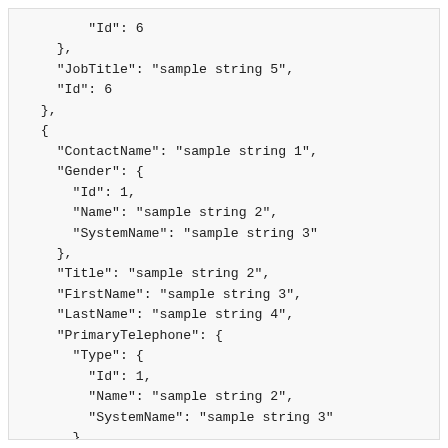"Id": 6
    },
    "JobTitle": "sample string 5",
    "Id": 6
  },
  {
    "ContactName": "sample string 1",
    "Gender": {
      "Id": 1,
      "Name": "sample string 2",
      "SystemName": "sample string 3"
    },
    "Title": "sample string 2",
    "FirstName": "sample string 3",
    "LastName": "sample string 4",
    "PrimaryTelephone": {
      "Type": {
        "Id": 1,
        "Name": "sample string 2",
        "SystemName": "sample string 3"
      },
      "Value": "sample string 1",